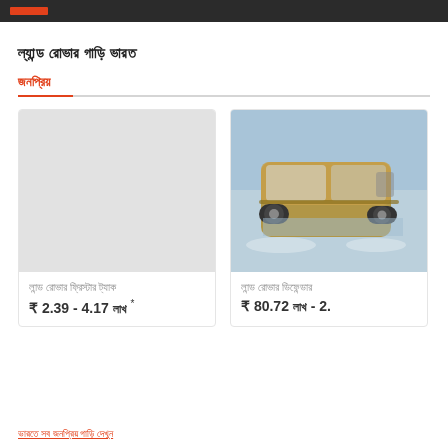Land Rover cars in India
Popular
[Figure (photo): Placeholder grey card for first car listing]
Land Rover Defender (2020)
₹ 2.39 - 4.17 Lakh *
[Figure (photo): Photo of a Land Rover Defender SUV driving through water/snow]
Land Rover Defender
₹ 80.72 Lakh - 2...
View all popular cars in India